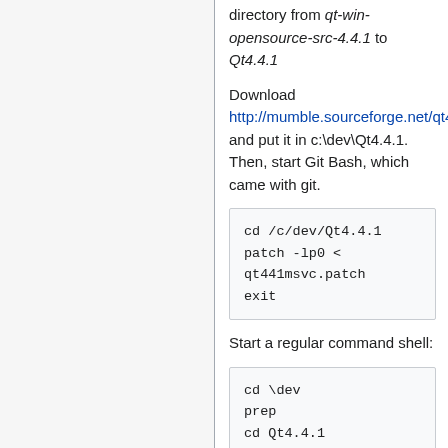directory from qt-win-opensource-src-4.4.1 to Qt4.4.1
Download http://mumble.sourceforge.net/qt441msvc.patch and put it in c:\dev\Qt4.4.1. Then, start Git Bash, which came with git.
cd /c/dev/Qt4.4.1
patch -lp0 < qt441msvc.patch
exit
Start a regular command shell:
cd \dev
prep
cd Qt4.4.1
configure -debug-and-release -qt-sql-